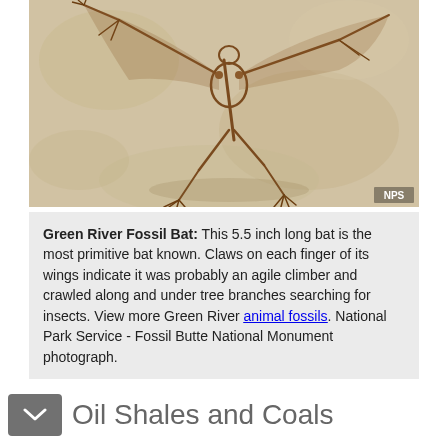[Figure (photo): Fossil bat specimen from the Green River Formation, showing skeletal remains preserved in light-colored rock. NPS photograph.]
Green River Fossil Bat: This 5.5 inch long bat is the most primitive bat known. Claws on each finger of its wings indicate it was probably an agile climber and crawled along and under tree branches searching for insects. View more Green River animal fossils. National Park Service - Fossil Butte National Monument photograph.
Oil Shales and Coals
The Green River climate was moist and warm - perfect for rapid plant growth. This allowed a dense community of plants to spread across the swampy